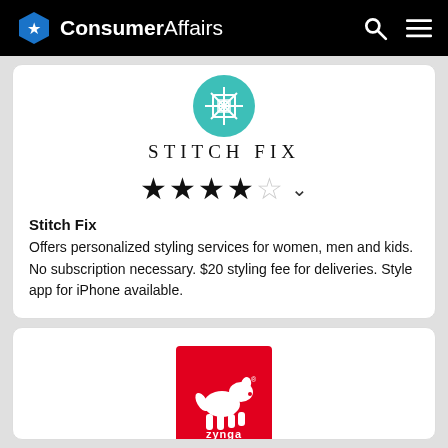ConsumerAffairs
[Figure (logo): Stitch Fix teal hexagonal logo]
STITCH FIX
[Figure (other): 4 out of 5 stars rating with dropdown chevron]
Stitch Fix
Offers personalized styling services for women, men and kids. No subscription necessary. $20 styling fee for deliveries. Style app for iPhone available.
[Figure (logo): Zynga red logo with white dog silhouette]